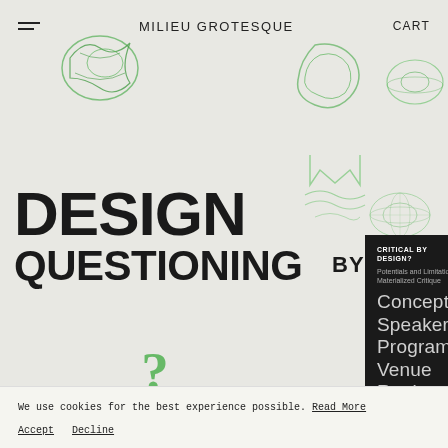MILIEU GROTESQUE
DESIGN
QUESTIONING
BY
[Figure (screenshot): Dark panel navigation menu with items: CRITICAL BY DESIGN?, Potentials and Limitations of Materialized Critique, Concept, Speakers, Program, Venue, Registration]
[Figure (illustration): Various 3D rendered objects in green wireframe and solid: geometric shapes, question marks, abstract forms scattered on light grey background]
We use cookies for the best experience possible. Read More

Accept   Decline